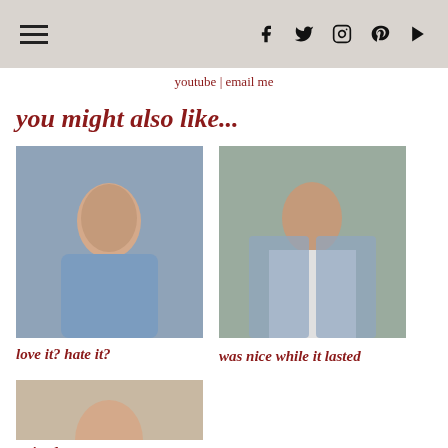☰ [hamburger menu] | [social icons: facebook, twitter, instagram, pinterest, youtube]
youtube | email me
you might also like...
[Figure (photo): Woman in blue off-shoulder top sitting outdoors near hay bales]
love it? hate it?
[Figure (photo): Woman in white turtleneck with plaid shirt, indoors, red lips]
was nice while it lasted
[Figure (photo): Woman in striped top with red scarf around neck, smiling, red lips]
striped